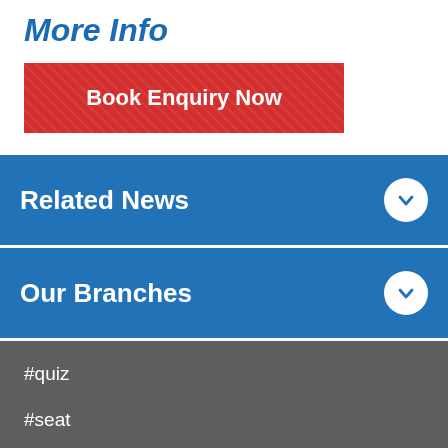More Info
Book Enquiry Now
Related News
Our Branches
#quiz
#seat
#skoda
#volkswagen